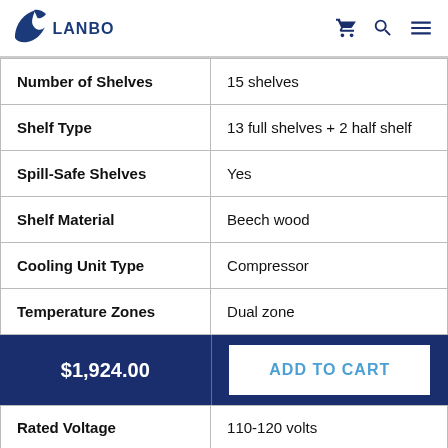LANBO
| Attribute | Value |
| --- | --- |
| Number of Shelves | 15 shelves |
| Shelf Type | 13 full shelves + 2 half shelf |
| Spill-Safe Shelves | Yes |
| Shelf Material | Beech wood |
| Cooling Unit Type | Compressor |
| Temperature Zones | Dual zone |
$1,924.00
ADD TO CART
| Attribute | Value |
| --- | --- |
| Rated Voltage | 110-120 volts |